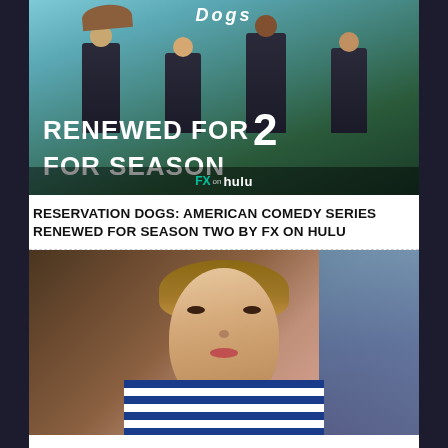[Figure (photo): Promotional image for Reservation Dogs TV show showing four young characters in suits standing outdoors with text overlay reading 'RENEWED FOR SEASON 2' and 'FX on Hulu' branding]
RESERVATION DOGS: AMERICAN COMEDY SERIES RENEWED FOR SEASON TWO BY FX ON HULU
[Figure (photo): Close-up photo of a young woman with shoulder-length brown hair wearing a blue and white striped shirt, looking at the camera]